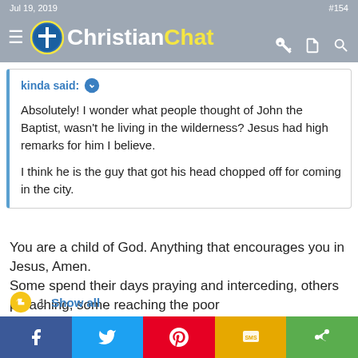Jul 19, 2019   ChristianChat   #154
kinda said:
Absolutely! I wonder what people thought of John the Baptist, wasn't he living in the wilderness? Jesus had high remarks for him I believe.

I think he is the guy that got his head chopped off for coming in the city.
You are a child of God. Anything that encourages you in Jesus, Amen.
Some spend their days praying and interceding, others preaching, some reaching the poor
and destitute etc. It is for us to find that which God has called us to.
1  Show all  [share buttons: Facebook, Twitter, Pinterest, SMS, Share]